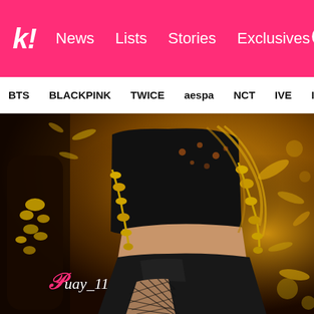k! News Lists Stories Exclusives
BTS BLACKPINK TWICE aespa NCT IVE ITZY
[Figure (photo): Close-up photo of a K-pop performer wearing a black crop top and black leather shorts with fishnet stockings, adorned with yellow floral accessories on arms. Gold confetti and bokeh lights in background. Watermark reads 'puay_11' in pink/white script.]